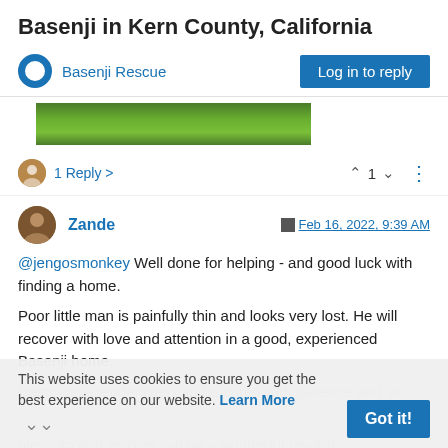Basenji in Kern County, California
Basenji Rescue | Log in to reply
[Figure (photo): Cropped photo showing green grass in the background.]
1 Reply > ^ 1 v ⋮
Zande  Feb 16, 2022, 9:39 AM
@jengosmonkey Well done for helping - and good luck with finding a home.

Poor little man is painfully thin and looks very lost. He will recover with love and attention in a good, experienced Basenji home.
Destructive tendencies can be cured with patience and seeing him blossom and recover will be a wonderful reward.
This website uses cookies to ensure you get the best experience on our website. Learn More  Got it!